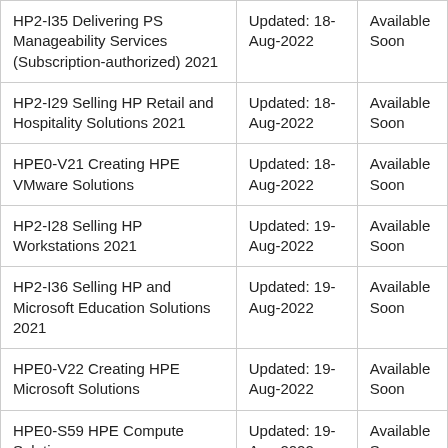| HP2-I35 Delivering PS Manageability Services (Subscription-authorized) 2021 | Updated: 18-Aug-2022 | Available Soon |
| HP2-I29 Selling HP Retail and Hospitality Solutions 2021 | Updated: 18-Aug-2022 | Available Soon |
| HPE0-V21 Creating HPE VMware Solutions | Updated: 18-Aug-2022 | Available Soon |
| HP2-I28 Selling HP Workstations 2021 | Updated: 19-Aug-2022 | Available Soon |
| HP2-I36 Selling HP and Microsoft Education Solutions 2021 | Updated: 19-Aug-2022 | Available Soon |
| HPE0-V22 Creating HPE Microsoft Solutions | Updated: 19-Aug-2022 | Available Soon |
| HPE0-S59 HPE Compute Solutions | Updated: 19-Aug-2022 | Available Soon |
| HPE0-S60 Delta - HPE Compute Solutions | Updated: 19-Aug-2022 | Available Soon |